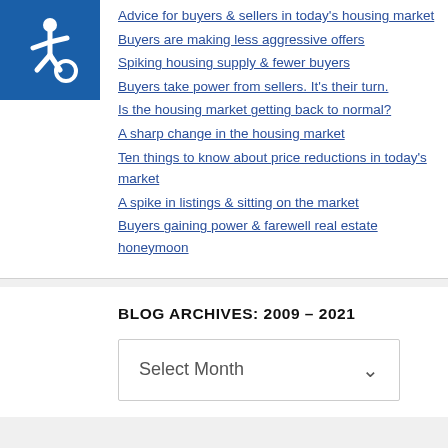[Figure (other): Accessibility icon - wheelchair symbol in white on blue square background]
Advice for buyers & sellers in today's housing market
Buyers are making less aggressive offers
Spiking housing supply & fewer buyers
Buyers take power from sellers. It's their turn.
Is the housing market getting back to normal?
A sharp change in the housing market
Ten things to know about price reductions in today's market
A spike in listings & sitting on the market
Buyers gaining power & farewell real estate honeymoon
BLOG ARCHIVES: 2009 – 2021
Select Month